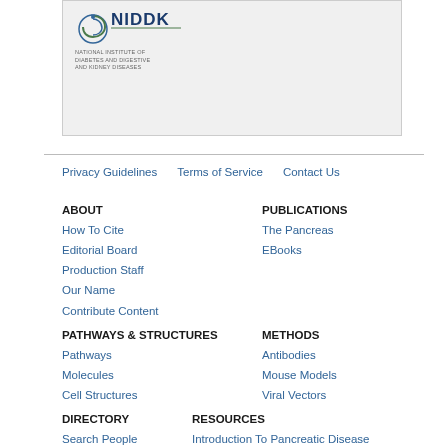[Figure (logo): NIDDK - National Institute of Diabetes and Digestive and Kidney Diseases logo with stylized snake symbol]
Privacy Guidelines
Terms of Service
Contact Us
ABOUT
PUBLICATIONS
How To Cite
The Pancreas
Editorial Board
EBooks
Production Staff
Our Name
Contribute Content
PATHWAYS & STRUCTURES
METHODS
Pathways
Antibodies
Molecules
Mouse Models
Cell Structures
Viral Vectors
DIRECTORY
RESOURCES
Search People
Introduction To Pancreatic Disease